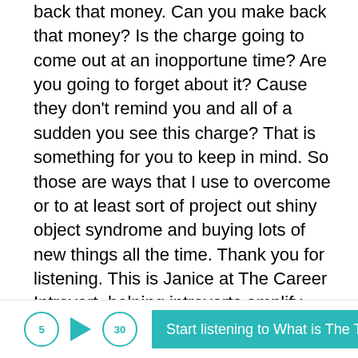back that money. Can you make back that money? Is the charge going to come out at an inopportune time? Are you going to forget about it? Cause they don't remind you and all of a sudden you see this charge? That is something for you to keep in mind. So those are ways that I use to overcome or to at least sort of project out shiny object syndrome and buying lots of new things all the time. Thank you for listening. This is Janice at The Career Introvert, helping introverts amplify their voices through podcasting, publishing, public speaking, and general personal branding. If you have any questions, please email me at
[Figure (other): Audio player bar with back-5 button, play button, forward-30 button, and a teal CTA button reading 'Start listening to What is The Tr... 5:14']